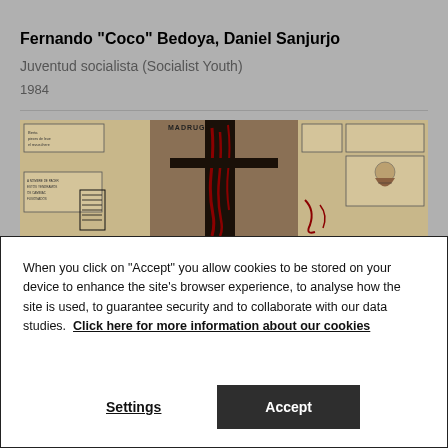Fernando "Coco" Bedoya, Daniel Sanjurjo
Juventud socialista (Socialist Youth)
1984
[Figure (photo): Artwork photograph: a triptych-style piece titled MADRUGADA showing comic-strip panels on the left, a dark central panel with red paint drips suggesting a cross or figure, and a right panel with small illustrated boxes including a portrait of a bearded man. Mixed media on paper/canvas, muted tan/brown tones with black and red markings.]
When you click on “Accept” you allow cookies to be stored on your device to enhance the site’s browser experience, to analyse how the site is used, to guarantee security and to collaborate with our data studies. Click here for more information about our cookies
Settings
Accept